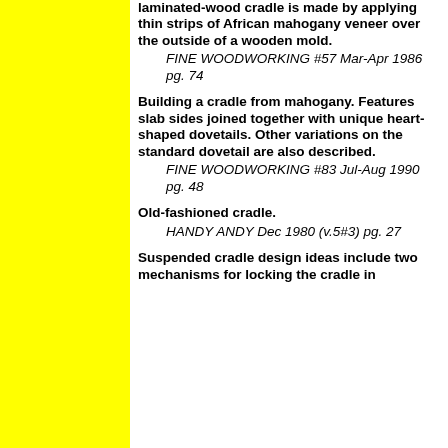laminated-wood cradle is made by applying thin strips of African mahogany veneer over the outside of a wooden mold.
FINE WOODWORKING #57 Mar-Apr 1986 pg. 74
Building a cradle from mahogany. Features slab sides joined together with unique heart-shaped dovetails. Other variations on the standard dovetail are also described.
FINE WOODWORKING #83 Jul-Aug 1990 pg. 48
Old-fashioned cradle.
HANDY ANDY Dec 1980 (v.5#3) pg. 27
Suspended cradle design ideas include two mechanisms for locking the cradle in